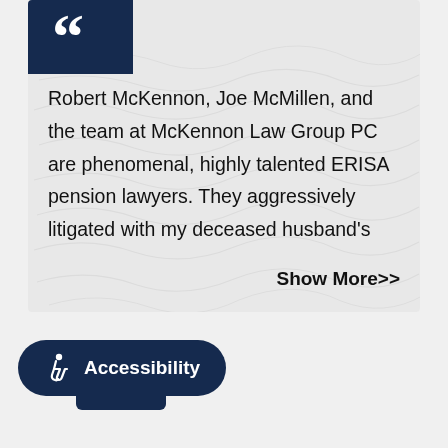[Figure (other): Dark navy blue quotation mark icon block in top-left corner of quote card]
Robert McKennon, Joe McMillen, and the team at McKennon Law Group PC are phenomenal, highly talented ERISA pension lawyers. They aggressively litigated with my deceased husband's
Show More>>
Accessibility